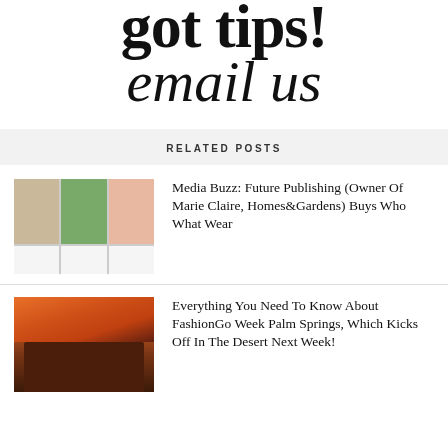got tips! email us
RELATED POSTS
[Figure (photo): Three fashion article thumbnail images side by side]
Media Buzz: Future Publishing (Owner Of Marie Claire, Homes&Gardens) Buys Who What Wear
[Figure (photo): Desert building at sunset with palm tree]
Everything You Need To Know About FashionGo Week Palm Springs, Which Kicks Off In The Desert Next Week!